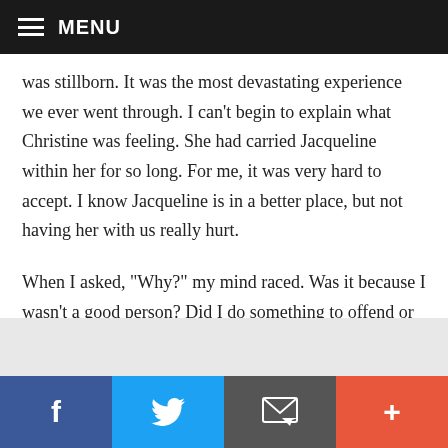MENU
was stillborn. It was the most devastating experience we ever went through. I can’t begin to explain what Christine was feeling. She had carried Jacqueline within her for so long. For me, it was very hard to accept. I know Jacqueline is in a better place, but not having her with us really hurt.
When I asked, “Why?” my mind raced. Was it because I wasn’t a good person? Did I do something to offend or upset God? Is God doing something drastic to get my attention? In hindsight, I don’t believe any of that stuff now. We will never know why our daughter died. We